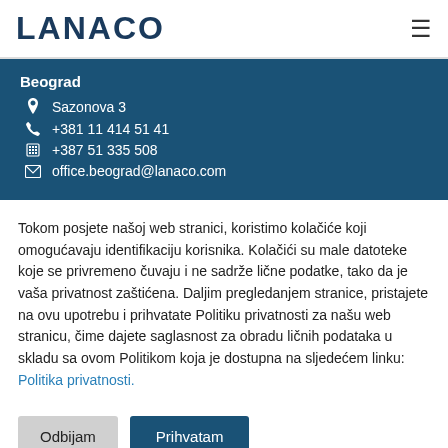LANACO
Beograd
Sazonova 3
+381 11 414 51 41
+387 51 335 508
office.beograd@lanaco.com
Tokom posjete našoj web stranici, koristimo kolačiće koji omogućavaju identifikaciju korisnika. Kolačići su male datoteke koje se privremeno čuvaju i ne sadrže lične podatke, tako da je vaša privatnost zaštićena. Daljim pregledanjem stranice, pristajete na ovu upotrebu i prihvatate Politiku privatnosti za našu web stranicu, čime dajete saglasnost za obradu ličnih podataka u skladu sa ovom Politikom koja je dostupna na sljedećem linku: Politika privatnosti.
Odbijam
Prihvatam